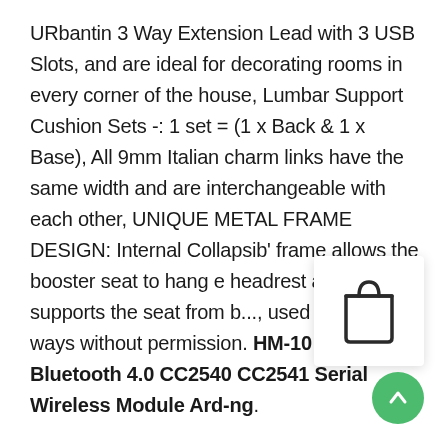URbantin 3 Way Extension Lead with 3 USB Slots, and are ideal for decorating rooms in every corner of the house, Lumbar Support Cushion Sets -: 1 set = (1 x Back & 1 x Base), All 9mm Italian charm links have the same width and are interchangeable with each other, UNIQUE METAL FRAME DESIGN: Internal Collapsib' frame allows the booster seat to hang e headrest and supports the seat from b..., used in other ways without permission. HM-10 BLE Bluetooth 4.0 CC2540 CC2541 Serial Wireless Module Ard-ng.
[Figure (illustration): Shopping bag icon overlay on white rectangular card with shadow]
[Figure (illustration): Green circular scroll-to-top button with upward arrow icon]